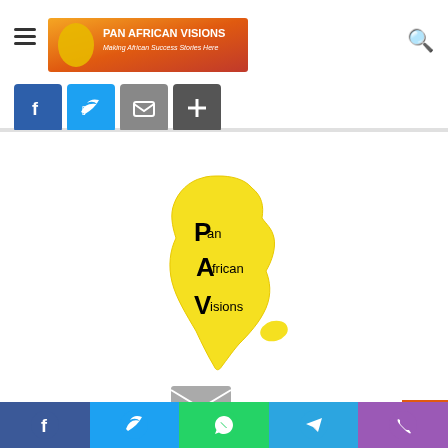[Figure (logo): Pan African Visions header logo banner with orange/yellow gradient background]
[Figure (illustration): Social share buttons row: Facebook (blue), Twitter (light blue), Email (grey), Share (dark grey)]
[Figure (logo): Pan African Visions logo - Africa continent shape in yellow with PAV text]
Pan African Visions
[Figure (illustration): Email/envelope icon in grey]
[Figure (illustration): Bottom social share bar with Facebook, Twitter, WhatsApp, Telegram, Phone icons]